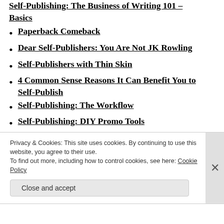Self-Publishing: The Business of Writing 101 – Basics
Paperback Comeback
Dear Self-Publishers: You Are Not JK Rowling
Self-Publishers with Thin Skin
4 Common Sense Reasons It Can Benefit You to Self-Publish
Self-Publishing: The Workflow
Self-Publishing: DIY Promo Tools
Self-Publishing: Just Write
Self-Publishing: Book Descriptions
Common Self-Publishing Mistakes
Writing Symbolism: The Secret Life of Bees
Privacy & Cookies: This site uses cookies. By continuing to use this website, you agree to their use. To find out more, including how to control cookies, see here: Cookie Policy
Close and accept